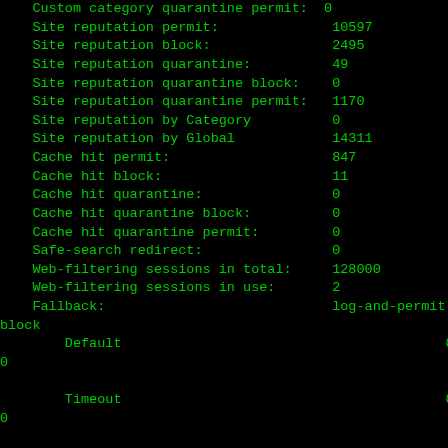Custom category quarantine permit:  0
    Site reputation permit:              10597
    Site reputation block:               2495
    Site reputation quarantine:          49
    Site reputation quarantine block:    0
    Site reputation quarantine permit:   1170
    Site reputation by Category          0
    Site reputation by Global            14311
    Cache hit permit:                    847
    Cache hit block:                     11
    Cache hit quarantine:                0
    Cache hit quarantine block:          0
    Cache hit quarantine permit:         0
    Safe-search redirect:                0
    Web-filtering sessions in total:     128000
    Web-filtering sessions in use:       2
    Fallback:                            log-and-permit
block
        Default                                        0
0

        Timeout                                        0
0

    Connectivity                                       0
0